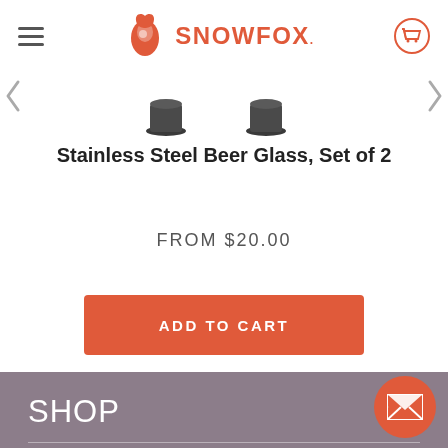SNOWFOX
[Figure (photo): Two stainless steel beer glasses (dark, wide-rimmed) shown from above, partially visible]
Stainless Steel Beer Glass, Set of 2
FROM $20.00
ADD TO CART
SHOP
Stemless Wine Glasses